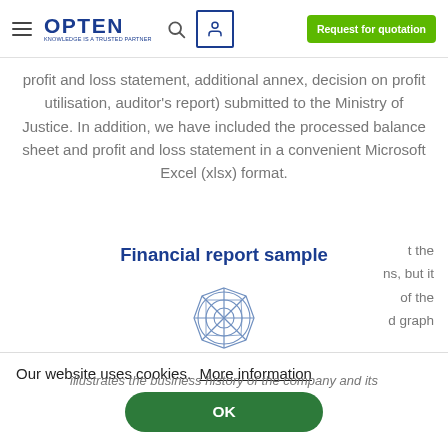OPTEN – KNOWLEDGE IS A TRUSTED PARTNER | Request for quotation
profit and loss statement, additional annex, decision on profit utilisation, auditor's report) submitted to the Ministry of Justice. In addition, we have included the processed balance sheet and profit and loss statement in a convenient Microsoft Excel (xlsx) format.
Financial report sample
[Figure (illustration): Spider web / radar chart icon in blue outline style]
Our website uses cookies.  More information
OK
t the
ns, but it
of the
d graph
illustrates the business history of the company and its